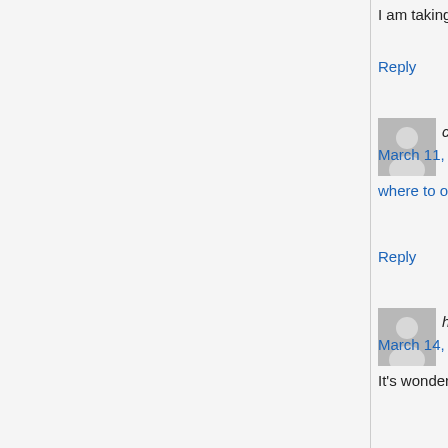I am taking a look forward for your subsequent p
Reply
cialis cost says:
March 11, 2022 at 5:47 am
where to order tadalafil tablets where to order ta
Reply
hot shot bald cop says:
March 14, 2022 at 1:22 am
It's wonderful that you are getting thoughts from at this time.
Reply
Emile1971 says:
March 16, 2022 at 7:29 am
http://emseyi.com/index.php?qa=user&qa_1=sta
Reply